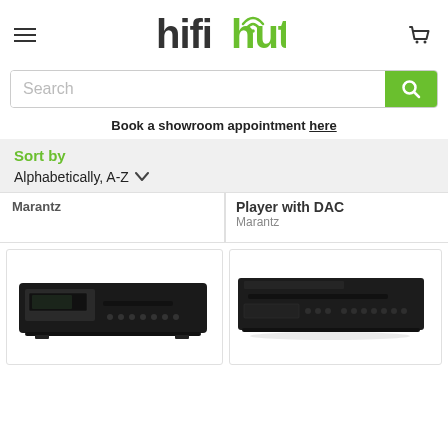[Figure (logo): hifihut logo with green 'hut' portion and wifi-style signal arc over the u]
[Figure (screenshot): Search bar with green search button]
Book a showroom appointment here
Sort by
Alphabetically, A-Z
Marantz
Player with DAC
Marantz
[Figure (photo): Black CD player / transport unit, slim design with display and disc slot]
[Figure (photo): Black CD player unit, wider design with multiple buttons and disc slot]